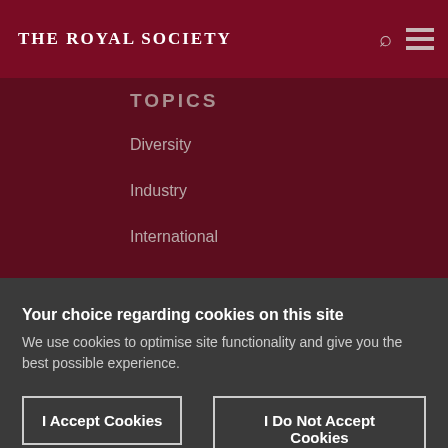THE ROYAL SOCIETY
TOPICS
Diversity
Industry
International
Your choice regarding cookies on this site
We use cookies to optimise site functionality and give you the best possible experience.
I Accept Cookies
I Do Not Accept Cookies
Settings